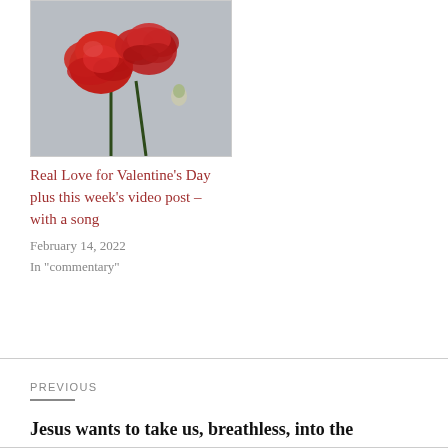[Figure (photo): Two red roses against a blurred grey background]
Real Love for Valentine's Day plus this week's video post – with a song
February 14, 2022
In "commentary"
PREVIOUS
Jesus wants to take us, breathless, into the possibilities...